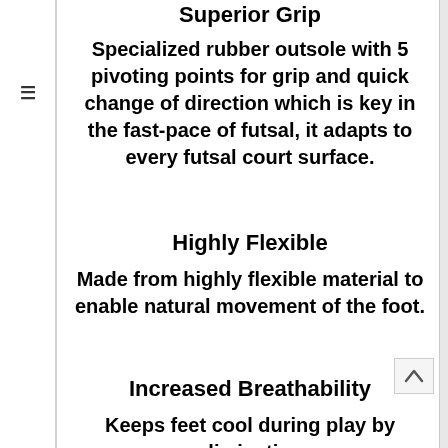Superior Grip
Specialized rubber outsole with 5 pivoting points for grip and quick change of direction which is key in the fast-pace of futsal, it adapts to every futsal court surface.
Highly Flexible
Made from highly flexible material to enable natural movement of the foot.
Increased Breathability
Keeps feet cool during play by eliminating